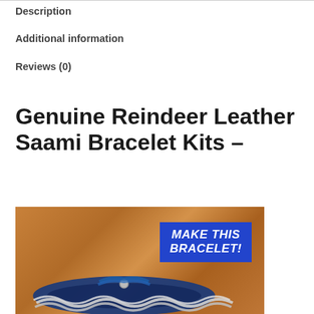Description
Additional information
Reviews (0)
Genuine Reindeer Leather Saami Bracelet Kits –
[Figure (photo): Photo of a blue reindeer leather Saami bracelet with silver pewter thread embroidery on a wooden surface, with a blue banner overlay reading 'MAKE THIS BRACELET!']